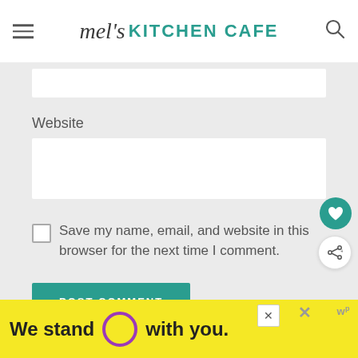mel's KITCHEN CAFE
Website
Save my name, email, and website in this browser for the next time I comment.
POST COMMENT
[Figure (other): Advertisement banner: 'We stand O with you.' on yellow background with purple circle logo]
We stand O with you.